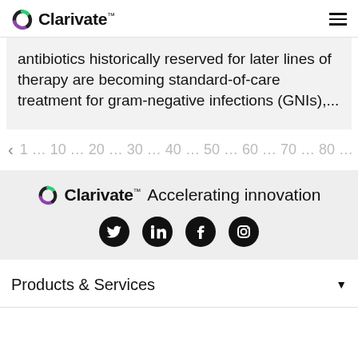Clarivate
antibiotics historically reserved for later lines of therapy are becoming standard-of-care treatment for gram-negative infections (GNIs),...
< 1 … 10 … 20 … 30 … 40 … 50 … 60 … 70 … 80 … 9
[Figure (logo): Clarivate logo with text 'Accelerating innovation' and social media icons (Twitter, LinkedIn, Facebook, Instagram)]
Products & Services